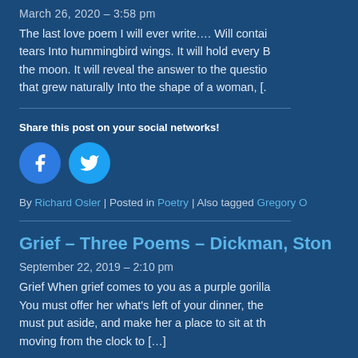March 26, 2020 – 3:58 pm
The last love poem I will ever write…. Will contain tears Into hummingbird wings. It will hold every B the moon. It will reveal the answer to the questio that grew naturally Into the shape of a woman, [.
Share this post on your social networks!
[Figure (illustration): Facebook and Twitter social sharing buttons as circular icons]
By Richard Osler | Posted in Poetry | Also tagged Gregory O
Grief – Three Poems – Dickman, Ston
September 22, 2019 – 2:10 pm
Grief When grief comes to you as a purple gorilla You must offer her what's left of your dinner, the must put aside, and make her a place to sit at th moving from the clock to […]